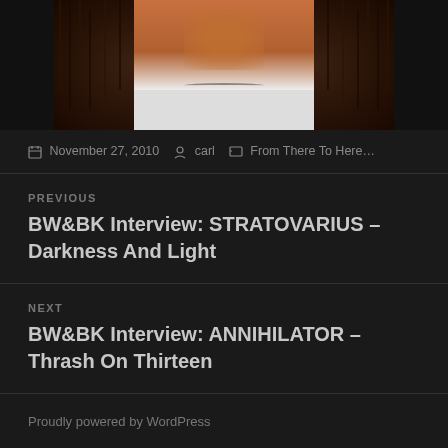[Figure (photo): Cropped photo of a person with dreadlocks making a hand gesture, wearing a white shirt. Only the top portion of the face and hands are visible.]
November 27, 2010  carl  From There To Here...
PREVIOUS
BW&BK Interview: STRATOVARIUS – Darkness And Light
NEXT
BW&BK Interview: ANNIHILATOR – Thrash On Thirteen
Proudly powered by WordPress